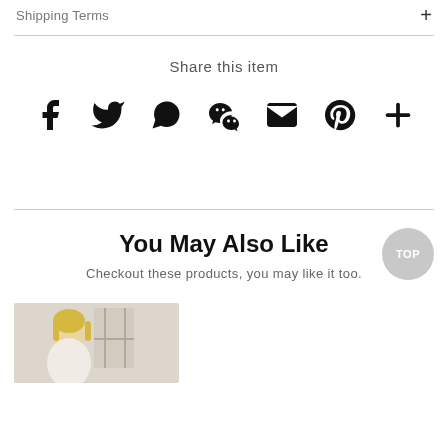Shipping Terms
Share this item
[Figure (infographic): Social share icons: Facebook, Twitter, WhatsApp, WeChat, Email, Pinterest, More]
You May Also Like
Checkout these products, you may like it too.
[Figure (photo): Product photo showing a person with blonde hair in a light setting]